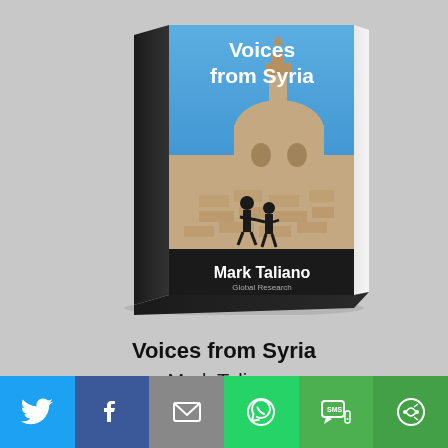[Figure (photo): Book cover of 'Voices from Syria' by Mark Taliano, published by Global Research. The 3D book cover shows a blue sky with a historic domed building/mosque, two silhouetted figures shaking hands on the roof. Title text 'Voices from Syria' at the top in white, author name 'Mark Taliano' and 'Global Research' at the bottom.]
Voices from Syria
Mark Taliano
[Figure (infographic): Social sharing button bar with 6 buttons: Twitter (blue bird icon), Facebook (blue f icon), Email (grey envelope icon), WhatsApp (green phone icon), SMS (green SMS bubble icon), More (green circular arrows icon)]